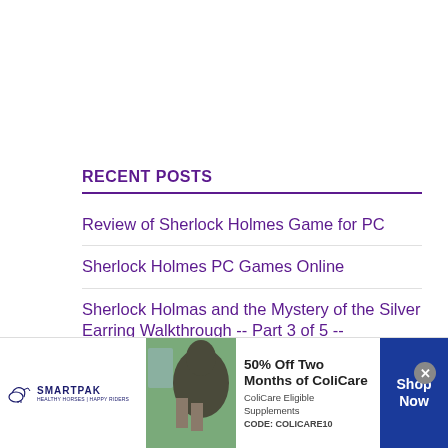RECENT POSTS
Review of Sherlock Holmes Game for PC
Sherlock Holmes PC Games Online
Sherlock Holmas and the Mystery of the Silver Earring Walkthrough -- Part 3 of 5 -- The Fairfax Theater...
[Figure (infographic): SmartPak advertisement banner at bottom of page. Shows SmartPak horse health brand logo on left, a photo of a horse and person in middle, text '50% Off Two Months of ColiCare, ColiCare Eligible Supplements, CODE: COLICARE10' in center, and blue 'Shop Now' button on right. Close X button in top-right of ad.]